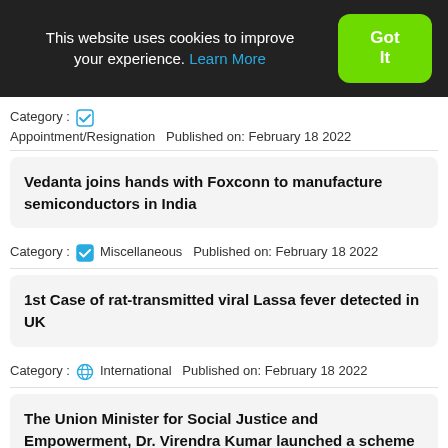This website uses cookies to improve your experience. Learn More   Got It
Category :  [checkbox icon] Appointment/Resignation   Published on: February 18 2022
Vedanta joins hands with Foxconn to manufacture semiconductors in India
Category :  [checkbox icon] Miscellaneous   Published on: February 18 2022
1st Case of rat-transmitted viral Lassa fever detected in UK
Category :  [globe icon] International   Published on: February 18 2022
The Union Minister for Social Justice and Empowerment, Dr. Virendra Kumar launched a scheme named 'SEED'
Category :  [home icon] National   Published on: February 18 2022